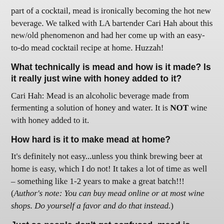part of a cocktail, mead is ironically becoming the hot new beverage. We talked with LA bartender Cari Hah about this new/old phenomenon and had her come up with an easy-to-do mead cocktail recipe at home. Huzzah!
What technically is mead and how is it made? Is it really just wine with honey added to it?
Cari Hah: Mead is an alcoholic beverage made from fermenting a solution of honey and water. It is NOT wine with honey added to it.
How hard is it to make mead at home?
It's definitely not easy...unless you think brewing beer at home is easy, which I do not! It takes a lot of time as well – something like 1-2 years to make a great batch!!! (Author's note: You can buy mead online or at most wine shops. Do yourself a favor and do that instead.)
Just so people don't get confused, mead is completely different from grog, right?